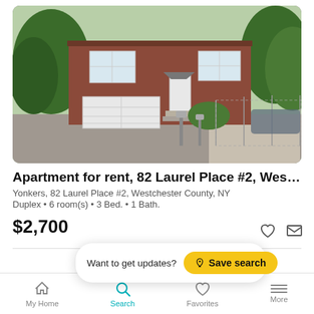[Figure (photo): Exterior photo of a two-story brick duplex apartment building with white garage door, chain-link fence, and trees in the background. Located at 82 Laurel Place #2, Yonkers, Westchester County, NY.]
Apartment for rent, 82 Laurel Place #2, Westchester C…
Yonkers, 82 Laurel Place #2, Westchester County, NY
Duplex • 6 room(s) • 3 Bed. • 1 Bath.
$2,700
Want to get updates?  Save search
My Home   Search   Favorites   More